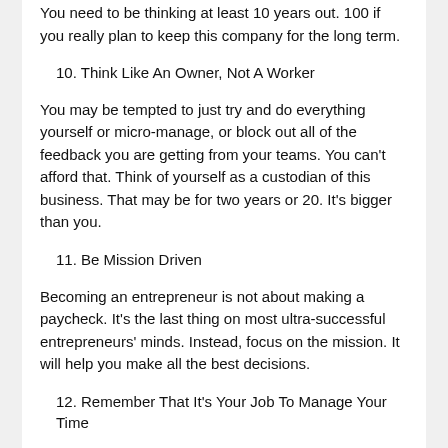You need to be thinking at least 10 years out. 100 if you really plan to keep this company for the long term.
10. Think Like An Owner, Not A Worker
You may be tempted to just try and do everything yourself or micro-manage, or block out all of the feedback you are getting from your teams. You can't afford that. Think of yourself as a custodian of this business. That may be for two years or 20. It's bigger than you.
11. Be Mission Driven
Becoming an entrepreneur is not about making a paycheck. It's the last thing on most ultra-successful entrepreneurs' minds. Instead, focus on the mission. It will help you make all the best decisions.
12. Remember That It's Your Job To Manage Your Time